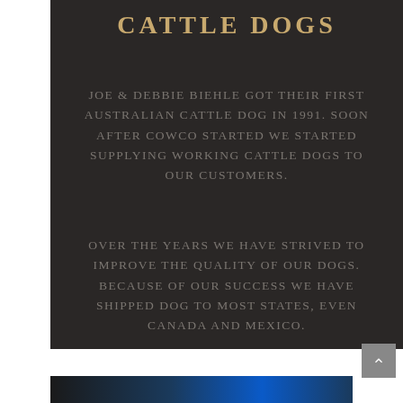CATTLE DOGS
JOE & DEBBIE BIEHLE GOT THEIR FIRST AUSTRALIAN CATTLE DOG IN 1991. SOON AFTER COWCO STARTED WE STARTED SUPPLYING WORKING CATTLE DOGS TO OUR CUSTOMERS.
OVER THE YEARS WE HAVE STRIVED TO IMPROVE THE QUALITY OF OUR DOGS. BECAUSE OF OUR SUCCESS WE HAVE SHIPPED DOG TO MOST STATES, EVEN CANADA AND MEXICO.
[Figure (photo): Dark background image with blue gradient, partial view at the bottom of the page]